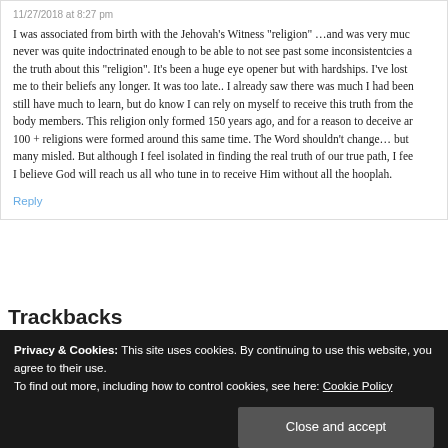11/27/2018 at 8:27 pm
I was associated from birth with the Jehovah's Witness “religion” …and was very much never was quite indoctrinated enough to be able to not see past some inconsistentcies a the truth about this “religion”. It’s been a huge eye opener but with hardships. I’ve lost me to their beliefs any longer. It was too late.. I already saw there was much I had been still have much to learn, but do know I can rely on myself to receive this truth from the body members. This religion only formed 150 years ago, and for a reason to deceive ar 100 + religions were formed around this same time. The Word shouldn’t change… but many misled. But although I feel isolated in finding the real truth of our true path, I fee I believe God will reach us all who tune in to receive Him without all the hooplah.
Reply
Trackbacks
Privacy & Cookies: This site uses cookies. By continuing to use this website, you agree to their use.
To find out more, including how to control cookies, see here: Cookie Policy
Close and accept
Reply